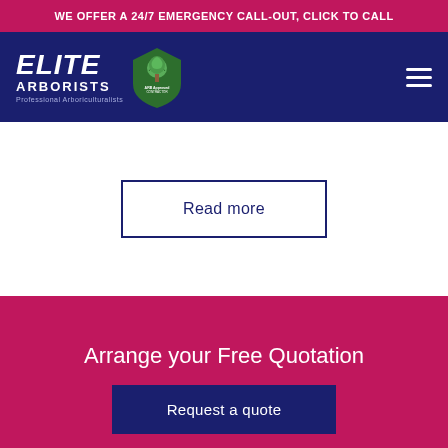WE OFFER A 24/7 EMERGENCY CALL-OUT, CLICK TO CALL
[Figure (logo): Elite Arborists logo with green shield badge showing a tree and ARB Approved Contractor text. White bold italic ELITE text above ARBORISTS and Professional Arboriculturalists tagline on navy background.]
Read more
Arrange your Free Quotation
Request a quote